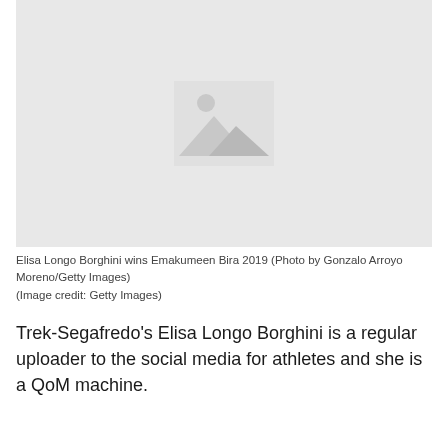[Figure (photo): Placeholder image with grey background and mountain/sun icon representing a missing photo of Elisa Longo Borghini winning Emakumeen Bira 2019]
Elisa Longo Borghini wins Emakumeen Bira 2019 (Photo by Gonzalo Arroyo Moreno/Getty Images)
(Image credit: Getty Images)
Trek-Segafredo's Elisa Longo Borghini is a regular uploader to the social media for athletes and she is a QoM machine.